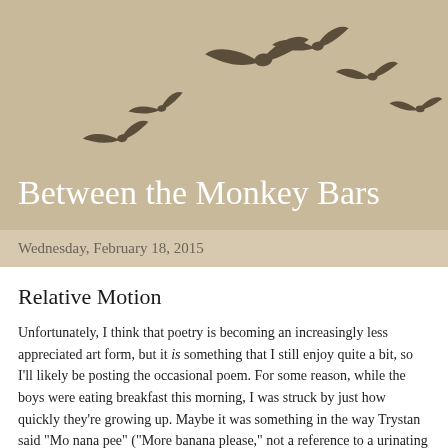[Figure (illustration): Silhouettes of birds in flight arranged in a loose arc across a tan/beige background]
Between the Monkey Bars
Wednesday, February 18, 2015
Relative Motion
Unfortunately, I think that poetry is becoming an increasingly less appreciated art form, but it is something that I still enjoy quite a bit, so I'll likely be posting the occasional poem. For some reason, while the boys were eating breakfast this morning, I was struck by just how quickly they're growing up. Maybe it was something in the way Trystan said "Mo nana pee" ("More banana please," not a reference to a urinating Grandma named "Mo"). Anyway, it got me thinking about how watching your kids grow up is rife with conflicting emotions. Pride and nostalgia. Love and a little sadness.